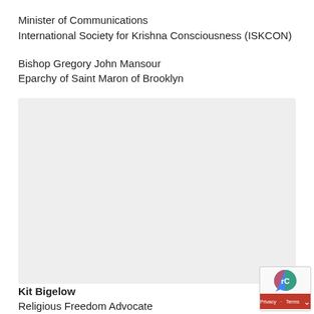Minister of Communications
International Society for Krishna Consciousness (ISKCON)
Bishop Gregory John Mansour
Eparchy of Saint Maron of Brooklyn
[Figure (other): Large light gray placeholder box, possibly an image or embedded content area]
Kit Bigelow
Religious Freedom Advocate